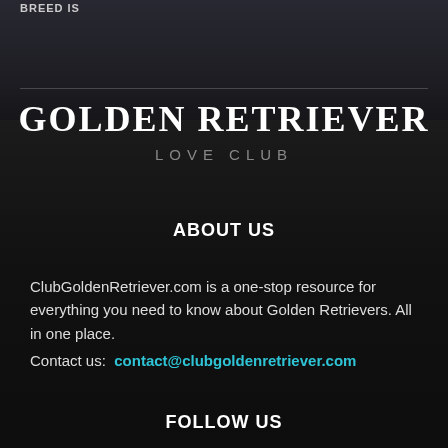Breed is
GOLDEN RETRIEVER
LOVE CLUB
ABOUT US
ClubGoldenRetriever.com is a one-stop resource for everything you need to know about Golden Retrievers. All in one place.
Contact us: contact@clubgoldenretriever.com
FOLLOW US